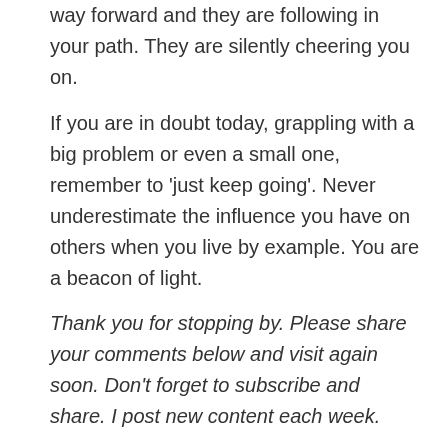way forward and they are following in your path. They are silently cheering you on.
If you are in doubt today, grappling with a big problem or even a small one, remember to ‘just keep going’. Never underestimate the influence you have on others when you live by example. You are a beacon of light.
Thank you for stopping by. Please share your comments below and visit again soon. Don’t forget to subscribe and share. I post new content each week.